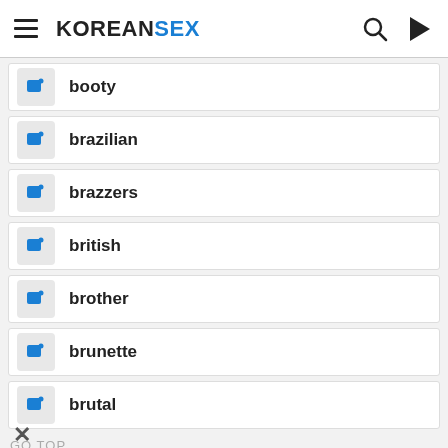KOREANSEX
booty
brazilian
brazzers
british
brother
brunette
brutal
GO TOP
bubble butt